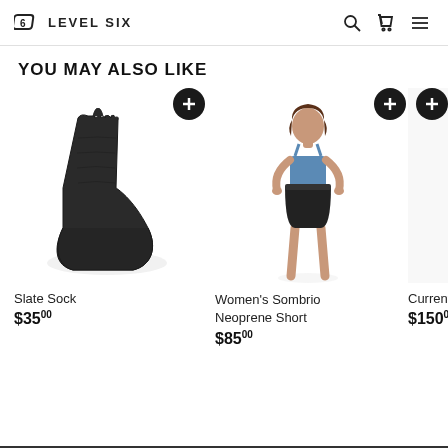LEVEL SIX
YOU MAY ALSO LIKE
[Figure (photo): Black neoprene sock (Slate Sock) shown from the side on white background]
Slate Sock
$35.00
[Figure (photo): Woman model wearing blue sports bra and black neoprene shorts, standing on white background]
Women's Sombrio Neoprene Short
$85.00
Current
$150.00